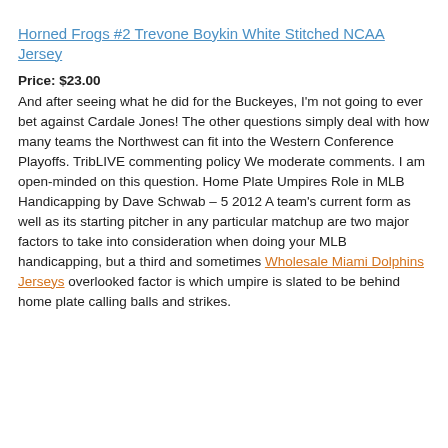Horned Frogs #2 Trevone Boykin White Stitched NCAA Jersey
Price: $23.00
And after seeing what he did for the Buckeyes, I'm not going to ever bet against Cardale Jones! The other questions simply deal with how many teams the Northwest can fit into the Western Conference Playoffs. TribLIVE commenting policy We moderate comments. I am open-minded on this question. Home Plate Umpires Role in MLB Handicapping by Dave Schwab – 5 2012 A team's current form as well as its starting pitcher in any particular matchup are two major factors to take into consideration when doing your MLB handicapping, but a third and sometimes Wholesale Miami Dolphins Jerseys overlooked factor is which umpire is slated to be behind home plate calling balls and strikes.